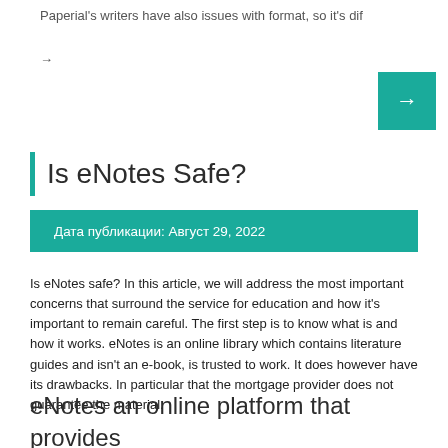Paperial's writers have also issues with format, so it's dif
→
[Figure (other): Teal square button with white right arrow]
Is eNotes Safe?
Дата публикации: Август 29, 2022
Is eNotes safe? In this article, we will address the most important concerns that surround the service for education and how it's important to remain careful. The first step is to know what is and how it works. eNotes is an online library which contains literature guides and isn't an e-book, is trusted to work. It does however have its drawbacks. In particular that the mortgage provider does not guarantee the material.
eNotes an online platform that provides education that is paid and accessible here